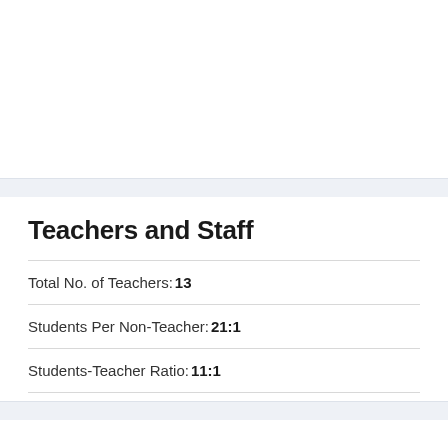Teachers and Staff
Total No. of Teachers: 13
Students Per Non-Teacher: 21:1
Students-Teacher Ratio: 11:1